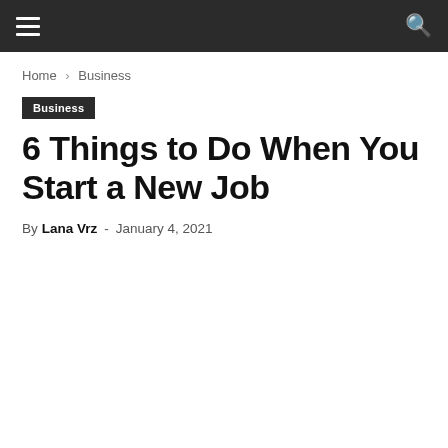Navigation bar with hamburger menu and search icon
Home › Business
Business
6 Things to Do When You Start a New Job
By Lana Vrz - January 4, 2021